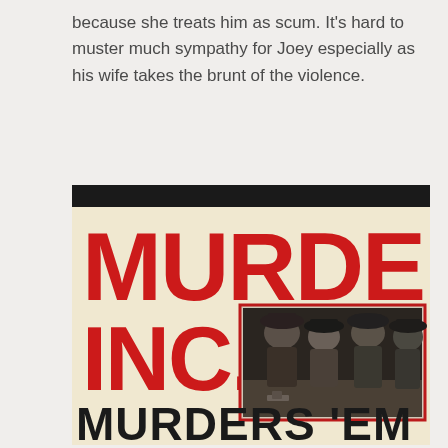because she treats him as scum. It's hard to muster much sympathy for Joey especially as his wife takes the brunt of the violence.
[Figure (photo): Movie poster for 'Murder, Inc.' showing large red hand-lettered title text 'MURDER, INC.' with a black-and-white photograph inset of men in suits and hats gathered around a table, and partial text 'MURDERS 'EM' at the bottom in bold black letters on a cream/off-white background.]